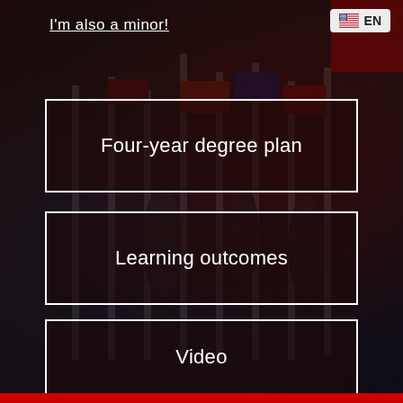I'm also a minor!
EN
Four-year degree plan
Learning outcomes
Video